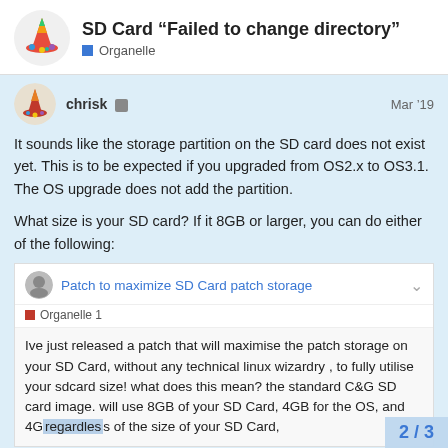SD Card "Failed to change directory" — Organelle
It sounds like the storage partition on the SD card does not exist yet. This is to be expected if you upgraded from OS2.x to OS3.1. The OS upgrade does not add the partition.

What size is your SD card? If it 8GB or larger, you can do either of the following:
Patch to maximize SD Card patch storage — Organelle 1 — Ive just released a patch that will maximise the patch storage on your SD Card, without any technical linux wizardry , to fully utilise your sdcard size! what does this mean? the standard C&G SD card image. will use 8GB of your SD Card, 4GB for the OS, and 4GB regardless of the size of your SD Card,
2 / 3